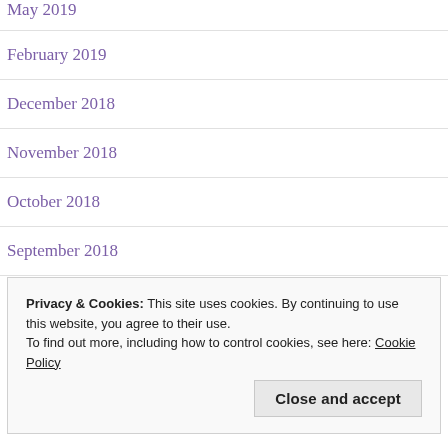May 2019
February 2019
December 2018
November 2018
October 2018
September 2018
August 2018
Privacy & Cookies: This site uses cookies. By continuing to use this website, you agree to their use.
To find out more, including how to control cookies, see here: Cookie Policy
Close and accept